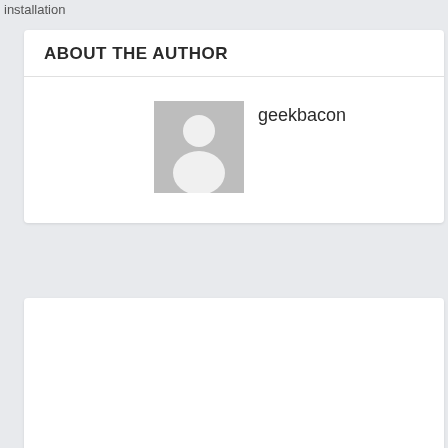installation
ABOUT THE AUTHOR
[Figure (illustration): Default user avatar placeholder — grey background with white silhouette of a person]
geekbacon